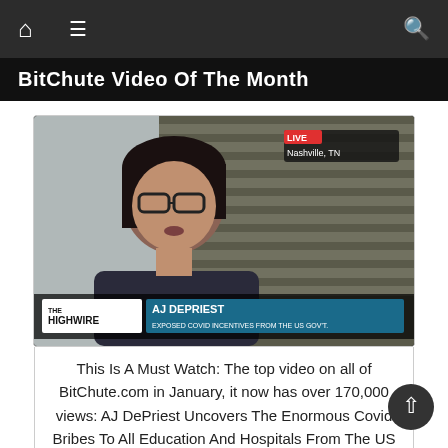BitChute Video Of The Month
[Figure (screenshot): TV news screenshot from TheHighwire showing AJ DePriest being interviewed live from Nashville, TN. Lower-third graphic reads: THEHIGHWIRE | AJ DEPRIEST | EXPOSED COVID INCENTIVES FROM THE US GOV'T.]
This Is A Must Watch: The top video on all of BitChute.com in January, it now has over 170,000 views: AJ DePriest Uncovers The Enormous Covid Bribes To All Education And Hospitals From The US Government (21:40)